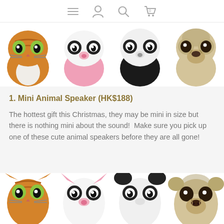navigation icons: menu, profile, search, cart (0)
[Figure (photo): Four mini animal speakers (cat, pink panda, black-white panda, pug dog) shown from top/front angle against white background]
1. Mini Animal Speaker (HK$188)
The hottest gift this Christmas, they may be mini in size but there is nothing mini about the sound!  Make sure you pick up one of these cute animal speakers before they are all gone!
[Figure (photo): Four mini animal speakers (cat, pink panda, black-white panda, pug dog) shown from front angle, partially cropped at bottom]